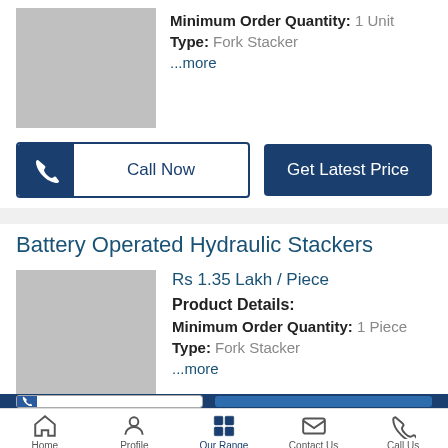[Figure (photo): Gray placeholder product image for first item]
Minimum Order Quantity: 1 Unit
Type: Fork Stacker
...more
Call Now
Get Latest Price
Battery Operated Hydraulic Stackers
[Figure (photo): Gray placeholder product image for Battery Operated Hydraulic Stackers]
Rs 1.35 Lakh / Piece
Product Details:
Minimum Order Quantity: 1 Piece
Type: Fork Stacker
...more
Home   Profile   Our Range   Contact Us   Call Us